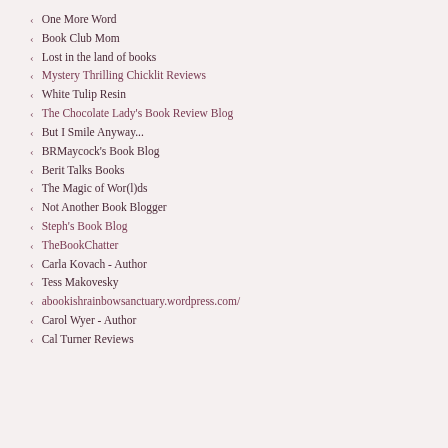One More Word
Book Club Mom
Lost in the land of books
Mystery Thrilling Chicklit Reviews
White Tulip Resin
The Chocolate Lady's Book Review Blog
But I Smile Anyway...
BRMaycock's Book Blog
Berit Talks Books
The Magic of Wor(l)ds
Not Another Book Blogger
Steph's Book Blog
TheBookChatter
Carla Kovach - Author
Tess Makovesky
abookishrainbowsanctuary.wordpress.com/
Carol Wyer - Author
Cal Turner Reviews